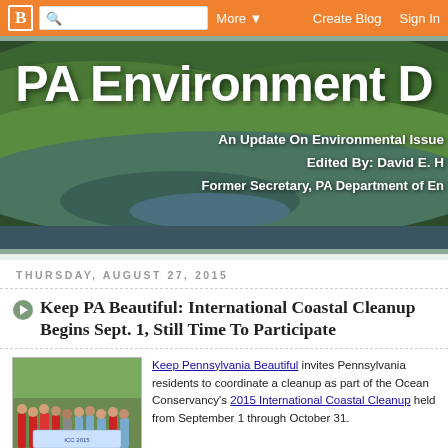Blogger navbar with B logo, search, More, Create Blog, Sign In
[Figure (illustration): PA Environment Digest blog banner — aerial forest/mountain photo with text: PA Environment D[igest], An Update On Environmental Issue[s], Edited By: David E. H[umeston], Former Secretary, PA Department of En[vironmental Protection]]
THURSDAY, AUGUST 27, 2015
Keep PA Beautiful: International Coastal Cleanup Begins Sept. 1, Still Time To Participate
[Figure (photo): Group photo of volunteers in red and blue shirts holding a banner at an outdoor cleanup event]
Keep Pennsylvania Beautiful invites Pennsylvania residents to coordinate a cleanup as part of the Ocean Conservancy's 2015 International Coastal Cleanup held from September 1 through October 31. The International Coasta[l Cleanup...]